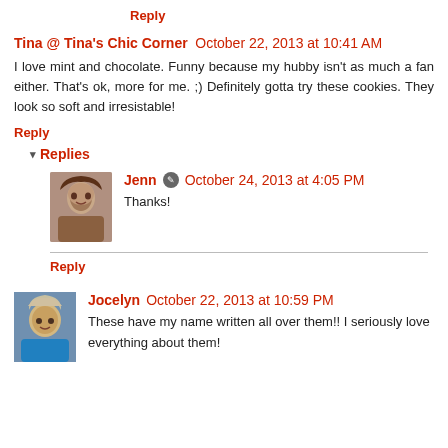Reply
Tina @ Tina's Chic Corner  October 22, 2013 at 10:41 AM
I love mint and chocolate. Funny because my hubby isn't as much a fan either. That's ok, more for me. ;) Definitely gotta try these cookies. They look so soft and irresistable!
Reply
Replies
Jenn  October 24, 2013 at 4:05 PM
Thanks!
Reply
Jocelyn  October 22, 2013 at 10:59 PM
These have my name written all over them!! I seriously love everything about them!